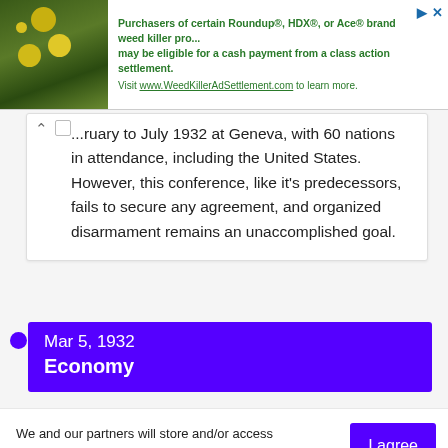[Figure (screenshot): Advertisement banner for WeedKillerAdSettlement.com with green plant image on left and text about Roundup, HDX, Ace brand weed killer class action settlement on right]
...ruary to July 1932 at Geneva, with 60 nations in attendance, including the United States. However, this conference, like it's predecessors, fails to secure any agreement, and organized disarmament remains an unaccomplished goal.
Mar 5, 1932
Economy
We and our partners will store and/or access personal data on your device through the use of cookies and similar technologies, to display personalised ads, for ad and content measurement, audience insights and product development.

By clicking 'I agree,' you consent to this, or you can manage your preferences.